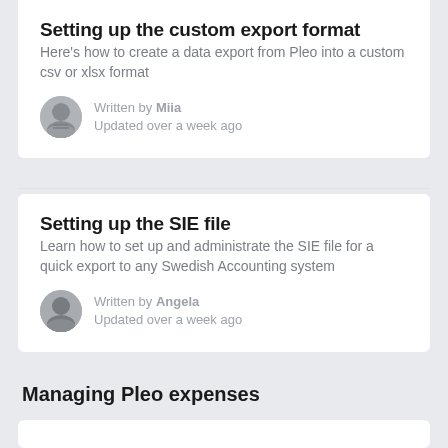Setting up the custom export format
Here's how to create a data export from Pleo into a custom csv or xlsx format
Written by Miia
Updated over a week ago
Setting up the SIE file
Learn how to set up and administrate the SIE file for a quick export to any Swedish Accounting system
Written by Angela
Updated over a week ago
Managing Pleo expenses